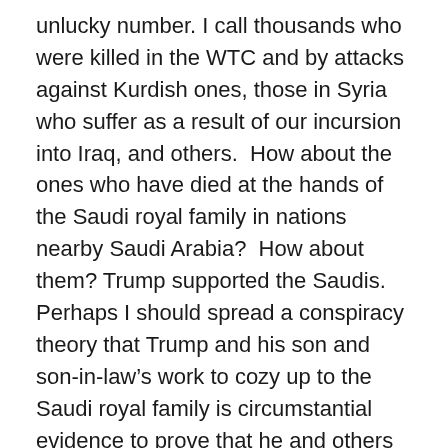unlucky number. I call thousands who were killed in the WTC and by attacks against Kurdish ones, those in Syria who suffer as a result of our incursion into Iraq, and others.  How about the ones who have died at the hands of the Saudi royal family in nations nearby Saudi Arabia?  How about them? Trump supported the Saudis. Perhaps I should spread a conspiracy theory that Trump and his son and son-in-law’s work to cozy up to the Saudi royal family is circumstantial evidence to prove that he and others are responsible for the 9/11 incident?  I don’t know. What stops me from bloviating about such an unproven conspiracy theory.
Stop the lack of consistency and the lousy attitudes of those who just want to attack Democrats, rather than work together, coexist with fellow Americans, and do something to solve our problems. Consistency should coexistence